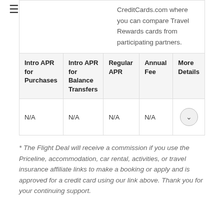≡
CreditCards.com where you can compare Travel Rewards cards from participating partners.
| Intro APR for Purchases | Intro APR for Balance Transfers | Regular APR | Annual Fee | More Details |
| --- | --- | --- | --- | --- |
| N/A | N/A | N/A | N/A | ▾ |
* The Flight Deal will receive a commission if you use the Priceline, accommodation, car rental, activities, or travel insurance affiliate links to make a booking or apply and is approved for a credit card using our link above. Thank you for your continuing support.